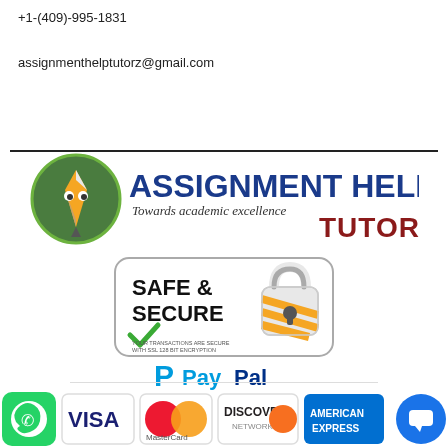+1-(409)-995-1831
assignmenthelptutorz@gmail.com
[Figure (logo): Assignment Help Tutor logo with pencil icon and text 'ASSIGNMENT HELP TUTOR - Towards academic excellence']
[Figure (infographic): Safe & Secure badge with padlock icon and text 'YOUR TRANSACTIONS ARE SECURE WITH SSL 128 BIT ENCRYPTION']
[Figure (logo): PayPal logo]
[Figure (infographic): Payment method icons: WhatsApp, Visa, MasterCard, Discover, American Express, chat bubble]